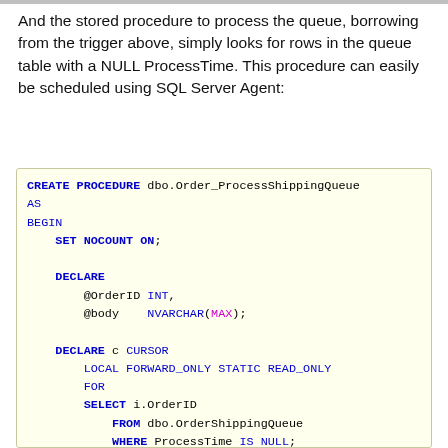And the stored procedure to process the queue, borrowing from the trigger above, simply looks for rows in the queue table with a NULL ProcessTime. This procedure can easily be scheduled using SQL Server Agent:
CREATE PROCEDURE dbo.Order_ProcessShippingQueue
AS
BEGIN
    SET NOCOUNT ON;

    DECLARE
        @OrderID INT,
        @body    NVARCHAR(MAX);

    DECLARE c CURSOR
        LOCAL FORWARD_ONLY STATIC READ_ONLY
        FOR
        SELECT i.OrderID
            FROM dbo.OrderShippingQueue
            WHERE ProcessTime IS NULL;

    OPEN c;